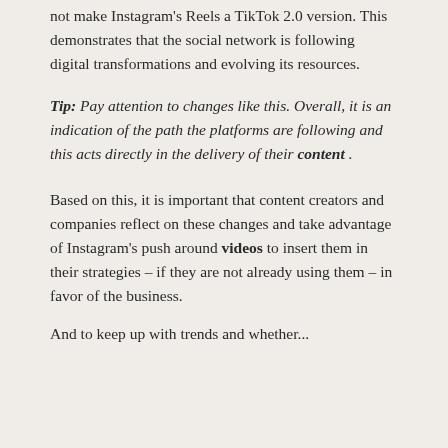not make Instagram's Reels a TikTok 2.0 version. This demonstrates that the social network is following digital transformations and evolving its resources.
Tip: Pay attention to changes like this. Overall, it is an indication of the path the platforms are following and this acts directly in the delivery of their content.
Based on this, it is important that content creators and companies reflect on these changes and take advantage of Instagram's push around videos to insert them in their strategies – if they are not already using them – in favor of the business.
And to keep up with trends and whether...